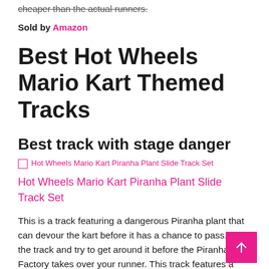cheaper than the actual runners.
Sold by Amazon
Best Hot Wheels Mario Kart Themed Tracks
Best track with stage danger
[Figure (screenshot): Broken image placeholder for Hot Wheels Mario Kart Piranha Plant Slide Track Set]
Hot Wheels Mario Kart Piranha Plant Slide Track Set
This is a track featuring a dangerous Piranha plant that can devour the kart before it has a chance to pass. Build the track and try to get around it before the Piranha Factory takes over your runner. This track features a diecast Luigi kart and the track is compatible with other tracks and racers.
Sold by Amazon